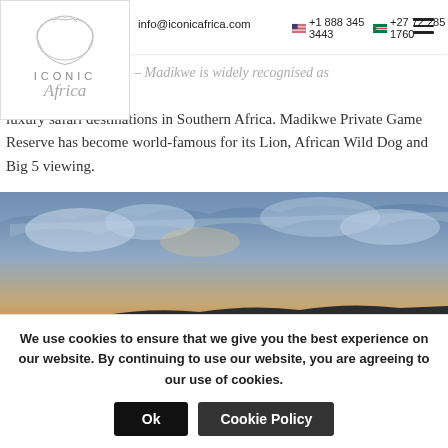info@iconicafrica.com  +1 888 345 3443  +27 72 285 1760
[Figure (logo): Iconic Africa logo with lion silhouette and stylized script text]
– Madikwe is widely recognised as one of the finest luxury safari destinations in Southern Africa. Madikwe Private Game Reserve has become world-famous for its Lion, African Wild Dog and Big 5 viewing.
[Figure (photo): Wide landscape photograph of an African safari sunset with dramatic clouds, golden horizon light, and flat savanna terrain]
We use cookies to ensure that we give you the best experience on our website. By continuing to use our website, you are agreeing to our use of cookies.